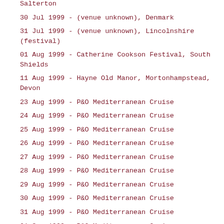Salterton
30 Jul 1999 - (venue unknown), Denmark
31 Jul 1999 - (venue unknown), Lincolnshire (festival)
01 Aug 1999 - Catherine Cookson Festival, South Shields
11 Aug 1999 - Hayne Old Manor, Mortonhampstead, Devon
23 Aug 1999 - P&O Mediterranean Cruise
24 Aug 1999 - P&O Mediterranean Cruise
25 Aug 1999 - P&O Mediterranean Cruise
26 Aug 1999 - P&O Mediterranean Cruise
27 Aug 1999 - P&O Mediterranean Cruise
28 Aug 1999 - P&O Mediterranean Cruise
29 Aug 1999 - P&O Mediterranean Cruise
30 Aug 1999 - P&O Mediterranean Cruise
31 Aug 1999 - P&O Mediterranean Cruise
01 Sep 1999 - P&O Mediterranean Cruise